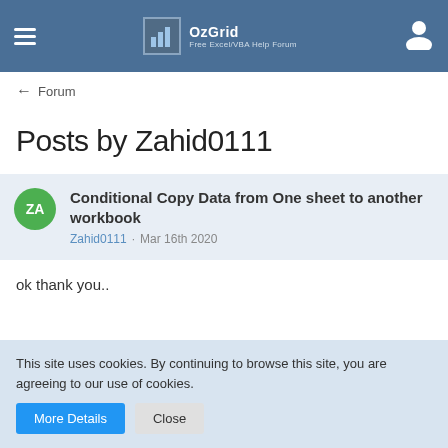OzGrid — Free Excel/VBA Help Forum
← Forum
Posts by Zahid0111
Conditional Copy Data from One sheet to another workbook — Zahid0111 · Mar 16th 2020
ok thank you..
This site uses cookies. By continuing to browse this site, you are agreeing to our use of cookies.